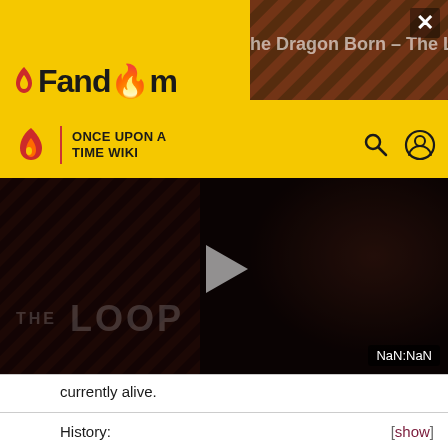[Figure (screenshot): Fandom website header with yellow background, showing Fandom logo, Once Upon A Time Wiki navigation bar with search and user icons, a video player showing 'THE LOOP' with play button and NaN:NaN timestamp, and a partially visible ad banner with diagonal stripes and X close button]
currently alive.
History:
[show]